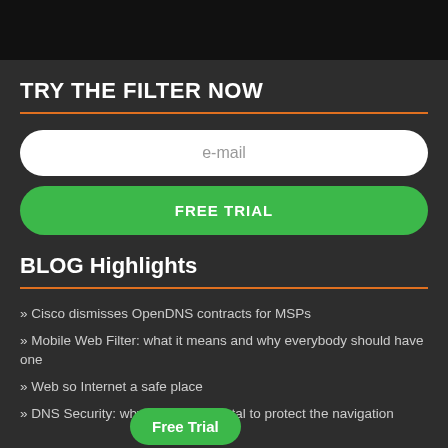[Figure (other): Dark black banner image at the top of the page]
TRY THE FILTER NOW
e-mail
FREE TRIAL
BLOG Highlights
» Cisco dismisses OpenDNS contracts for MSPs
» Mobile Web Filter: what it means and why everybody should have one
» Web so... Internet a safe place
» DNS Security: why it is fundamental to protect the navigation
Free Trial